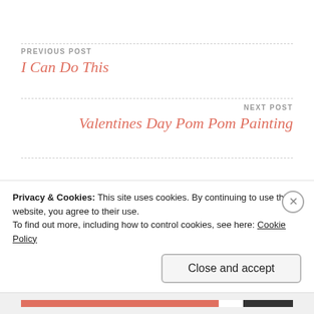PREVIOUS POST
I Can Do This
NEXT POST
Valentines Day Pom Pom Painting
Leave a Reply
Privacy & Cookies: This site uses cookies. By continuing to use this website, you agree to their use.
To find out more, including how to control cookies, see here: Cookie Policy
Close and accept